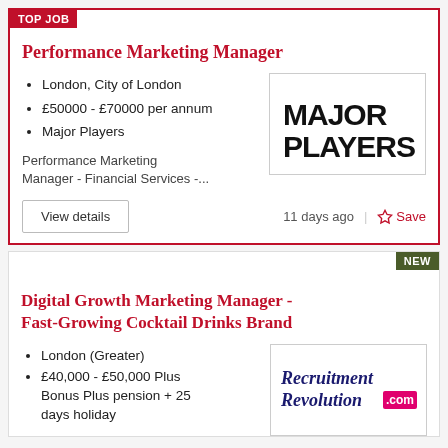TOP JOB
Performance Marketing Manager
London, City of London
£50000 - £70000 per annum
Major Players
[Figure (logo): Major Players logo in bold black text]
Performance Marketing Manager - Financial Services -...
View details
11 days ago
Save
NEW
Digital Growth Marketing Manager - Fast-Growing Cocktail Drinks Brand
London (Greater)
£40,000 - £50,000 Plus Bonus Plus pension + 25 days holiday
[Figure (logo): Recruitment Revolution .com logo]